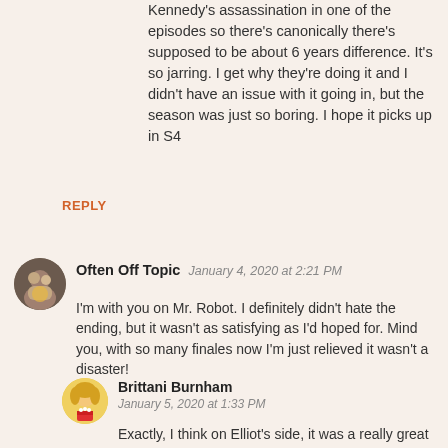Kennedy's assassination in one of the episodes so there's canonically there's supposed to be about 6 years difference. It's so jarring. I get why they're doing it and I didn't have an issue with it going in, but the season was just so boring. I hope it picks up in S4
REPLY
Often Off Topic  January 4, 2020 at 2:21 PM
I'm with you on Mr. Robot. I definitely didn't hate the ending, but it wasn't as satisfying as I'd hoped for. Mind you, with so many finales now I'm just relieved it wasn't a disaster!
Brittani Burnham  January 5, 2020 at 1:33 PM
Exactly, I think on Elliot's side, it was a really great ending for him. But Angela was my favorite too, and hers was the opposite.